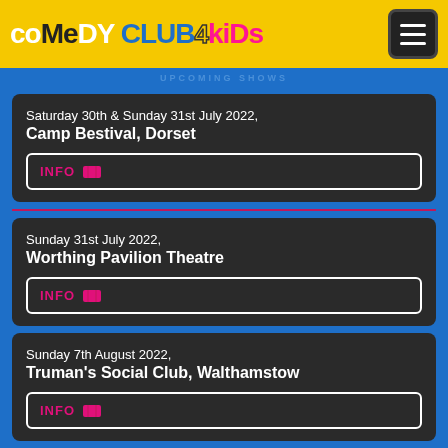Comedy Club 4 Kids
Saturday 30th & Sunday 31st July 2022, Camp Bestival, Dorset
INFO
Sunday 31st July 2022, Worthing Pavilion Theatre
INFO
Sunday 7th August 2022, Truman's Social Club, Walthamstow
INFO